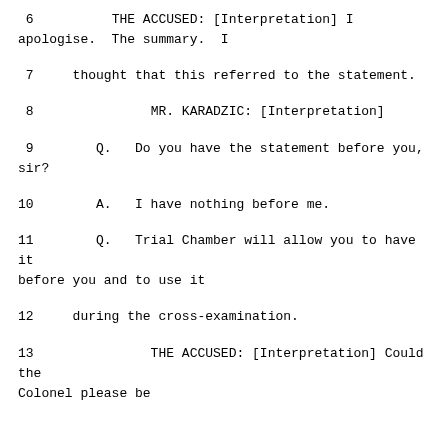6          THE ACCUSED: [Interpretation] I apologise.  The summary.  I
7     thought that this referred to the statement.
8               MR. KARADZIC: [Interpretation]
9        Q.   Do you have the statement before you, sir?
10        A.   I have nothing before me.
11        Q.   Trial Chamber will allow you to have it before you and to use it
12     during the cross-examination.
13               THE ACCUSED: [Interpretation] Could the Colonel please be